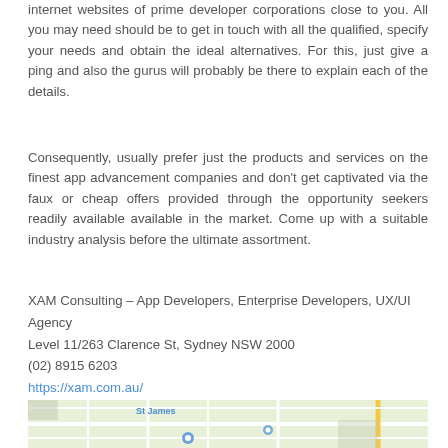internet websites of prime developer corporations close to you. All you may need should be to get in touch with all the qualified, specify your needs and obtain the ideal alternatives. For this, just give a ping and also the gurus will probably be there to explain each of the details.
Consequently, usually prefer just the products and services on the finest app advancement companies and don't get captivated via the faux or cheap offers provided through the opportunity seekers readily available available in the market. Come up with a suitable industry analysis before the ultimate assortment.
XAM Consulting – App Developers, Enterprise Developers, UX/UI Agency
Level 11/263 Clarence St, Sydney NSW 2000
(02) 8915 6203
https://xam.com.au/
[Figure (map): Street map showing area near St James, Sydney, with roads and landmarks visible]